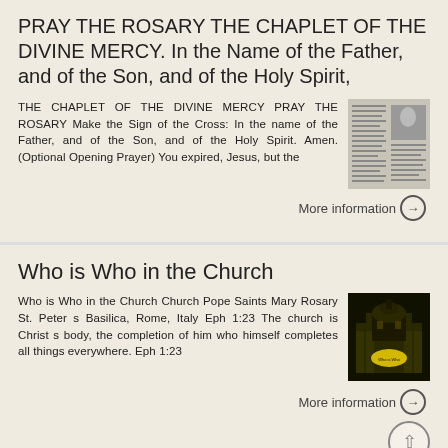PRAY THE ROSARY THE CHAPLET OF THE DIVINE MERCY. In the Name of the Father, and of the Son, and of the Holy Spirit,
THE CHAPLET OF THE DIVINE MERCY PRAY THE ROSARY Make the Sign of the Cross: In the name of the Father, and of the Son, and of the Holy Spirit. Amen. (Optional Opening Prayer) You expired, Jesus, but the
[Figure (photo): Thumbnail image of a document/pamphlet about the Rosary and Chaplet of the Divine Mercy]
More information →
Who is Who in the Church
Who is Who in the Church Church Pope Saints Mary Rosary St. Peter s Basilica, Rome, Italy Eph 1:23 The church is Christ s body, the completion of him who himself completes all things everywhere. Eph 1:23
[Figure (photo): Thumbnail image of a church building illuminated at night with a yellow banner]
More information →